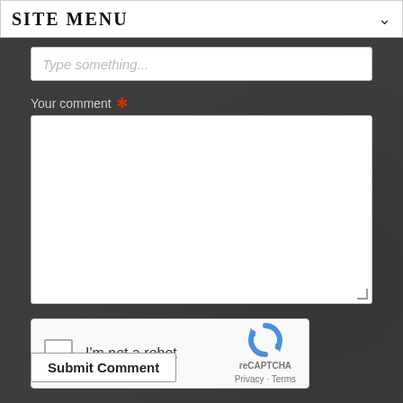SITE MENU
Type something...
Your comment *
[Figure (screenshot): reCAPTCHA widget with checkbox labeled I'm not a robot and reCAPTCHA logo with Privacy and Terms links]
Submit Comment